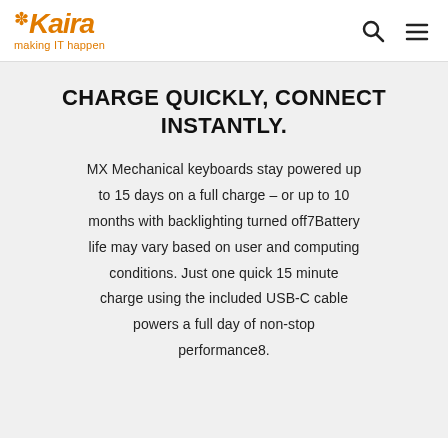Kaira – making IT happen
CHARGE QUICKLY, CONNECT INSTANTLY.
MX Mechanical keyboards stay powered up to 15 days on a full charge – or up to 10 months with backlighting turned off7Battery life may vary based on user and computing conditions. Just one quick 15 minute charge using the included USB-C cable powers a full day of non-stop performance8.